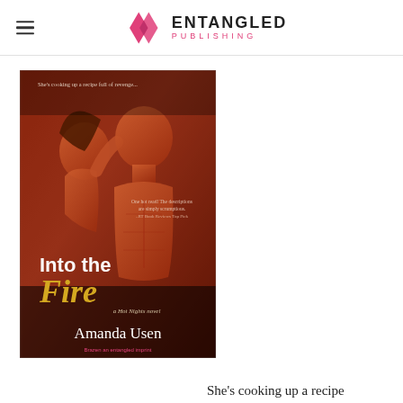Entangled Publishing
[Figure (illustration): Book cover for 'Into the Fire' by Amanda Usen, a Hot Nights novel published by Entangled/Brazen. Cover shows a man and woman in a romantic embrace with an orange/red toned background. Text on cover reads: 'She's cooking up a recipe full of revenge...' and 'One hot read! The descriptions are simply scrumptious.' - RT Book Reviews Top Pick. Title 'Into the Fire' in large text, 'a Hot Nights novel' subtitle, author name 'Amanda Usen', and 'Brazen an entangled imprint' at bottom.]
She's cooking up a recipe